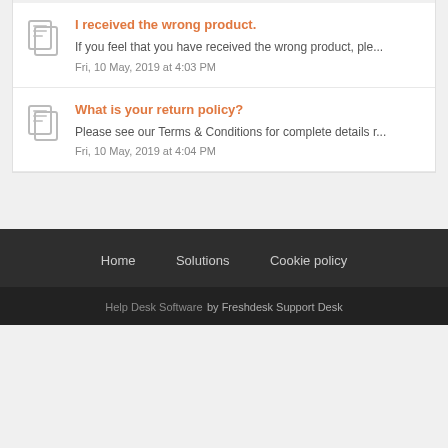I received the wrong product. — If you feel that you have received the wrong product, ple… — Fri, 10 May, 2019 at 4:03 PM
What is your return policy? — Please see our Terms & Conditions for complete details r… — Fri, 10 May, 2019 at 4:04 PM
Home  Solutions  Cookie policy
Help Desk Software  by Freshdesk Support Desk